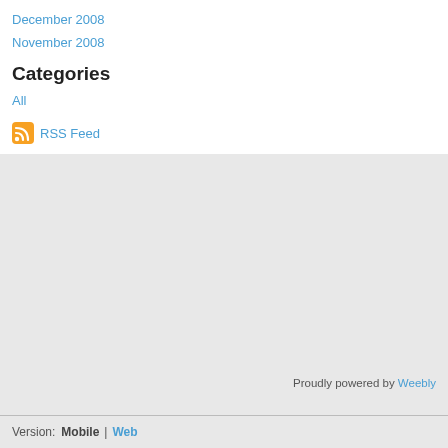December 2008
November 2008
Categories
All
RSS Feed
Proudly powered by Weebly
Version:  Mobile | Web